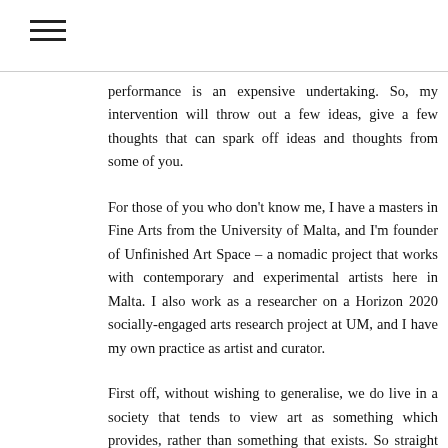performance is an expensive undertaking. So, my intervention will throw out a few ideas, give a few thoughts that can spark off ideas and thoughts from some of you.
For those of you who don't know me, I have a masters in Fine Arts from the University of Malta, and I'm founder of Unfinished Art Space – a nomadic project that works with contemporary and experimental artists here in Malta. I also work as a researcher on a Horizon 2020 socially-engaged arts research project at UM, and I have my own practice as artist and curator.
First off, without wishing to generalise, we do live in a society that tends to view art as something which provides, rather than something that exists. So straight away, we tend to leave artists to their own devices when it comes to earning an income – by which I don't mean that no public funding is available, but more that